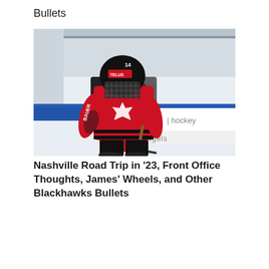Bullets
[Figure (photo): Hockey player in a red and black Team Canada jersey with a Bauer stick on an ice rink. Advertising boards in the background read 'elite hockey'. Player wearing a black helmet with cage visor.]
Nashville Road Trip in ’23, Front Office Thoughts, James’ Wheels, and Other Blackhawks Bullets